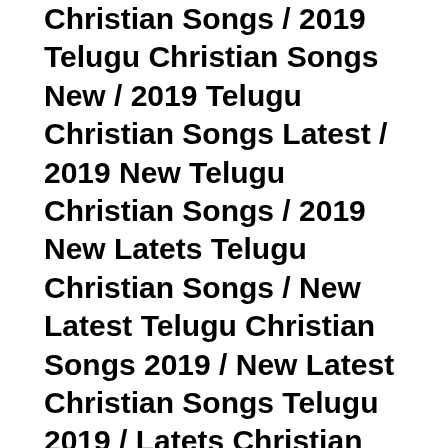Christian Songs / 2019 Telugu Christian Songs New / 2019 Telugu Christian Songs Latest / 2019 New Telugu Christian Songs / 2019 New Latets Telugu Christian Songs / New Latest Telugu Christian Songs 2019 / New Latest Christian Songs Telugu 2019 / Latets Christian Songs / Latest New Christian Songs / Christian Songs New / Christian Songs Latest New / Christian Music / Christian Muisc New / Telugu Christian Music / Telugu Christian Music 2018 / Telugu Christian Music 2019 / Telugu Christian Songs Mp3 / Telugu Christian Songs Audio / Telugu Christian Songs Mp3 Songs / Christian Songs Mp3 / Christian